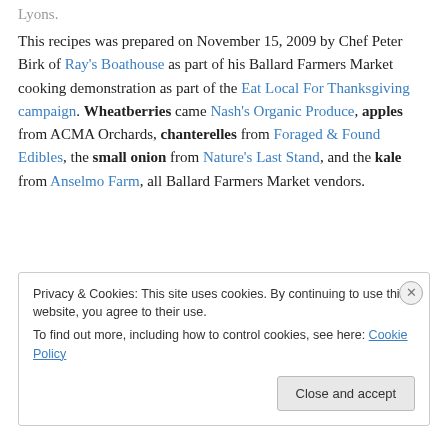Lyons.
This recipes was prepared on November 15, 2009 by Chef Peter Birk of Ray's Boathouse as part of his Ballard Farmers Market cooking demonstration as part of the Eat Local For Thanksgiving campaign. Wheatberries came Nash's Organic Produce, apples from ACMA Orchards, chanterelles from Foraged & Found Edibles, the small onion from Nature's Last Stand, and the kale from Anselmo Farm, all Ballard Farmers Market vendors.
Privacy & Cookies: This site uses cookies. By continuing to use this website, you agree to their use.
To find out more, including how to control cookies, see here: Cookie Policy
Close and accept